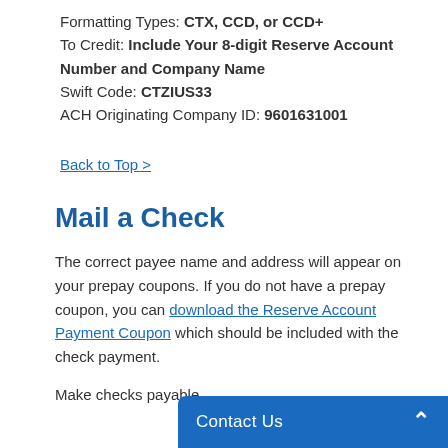Formatting Types: CTX, CCD, or CCD+
To Credit: Include Your 8-digit Reserve Account Number and Company Name
Swift Code: CTZIUS33
ACH Originating Company ID: 9601631001
Back to Top >
Mail a Check
The correct payee name and address will appear on your prepay coupons. If you do not have a prepay coupon, you can download the Reserve Account Payment Coupon which should be included with the check payment.
Make checks payable
Contact Us